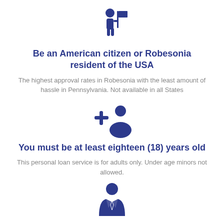[Figure (illustration): Icon of a person holding a flag, in dark navy/blue color]
Be an American citizen or Robesonia resident of the USA
The highest approval rates in Robesonia with the least amount of hassle in Pennsylvania. Not available in all States
[Figure (illustration): Icon of a person with a plus sign, representing adding a user, in dark navy/blue color]
You must be at least eighteen (18) years old
This personal loan service is for adults only. Under age minors not allowed.
[Figure (illustration): Icon of a person wearing a tie/suit, in dark navy/blue color, partially visible at bottom]